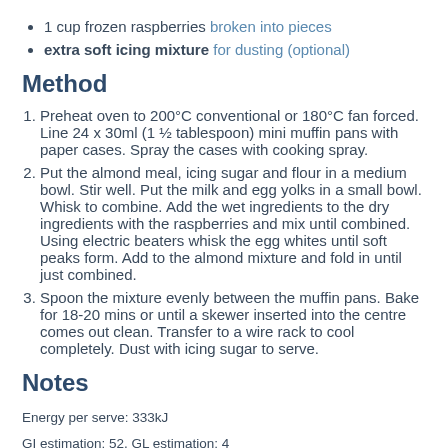1 cup frozen raspberries broken into pieces
extra soft icing mixture for dusting (optional)
Method
1. Preheat oven to 200°C conventional or 180°C fan forced. Line 24 x 30ml (1 ½ tablespoon) mini muffin pans with paper cases. Spray the cases with cooking spray.
2. Put the almond meal, icing sugar and flour in a medium bowl. Stir well. Put the milk and egg yolks in a small bowl. Whisk to combine. Add the wet ingredients to the dry ingredients with the raspberries and mix until combined. Using electric beaters whisk the egg whites until soft peaks form. Add to the almond mixture and fold in until just combined.
3. Spoon the mixture evenly between the muffin pans. Bake for 18-20 mins or until a skewer inserted into the centre comes out clean. Transfer to a wire rack to cool completely. Dust with icing sugar to serve.
Notes
Energy per serve: 333kJ
GI estimation: 52, GL estimation: 4
Please note the serving size listed is to be used as a guide only. Consider your own individual nutrient and carbohydrate requirements and adjust the